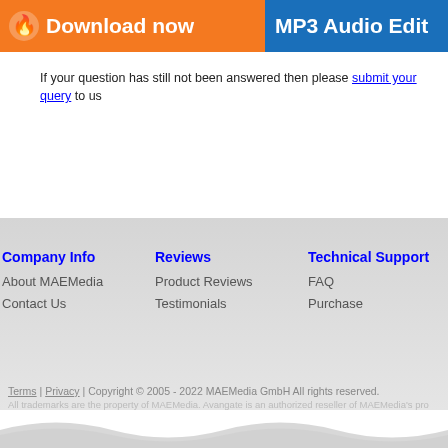Download now  MP3 Audio Edit
If your question has still not been answered then please submit your query to us
Company Info
About MAEMedia
Contact Us
Reviews
Product Reviews
Testimonials
Technical Support
FAQ
Purchase
Terms | Privacy | Copyright © 2005 - 2022 MAEMedia GmbH All rights reserved. All trademarks are the property of MAEMedia. Avangate is an authorized reseller of MAEMedia's pro